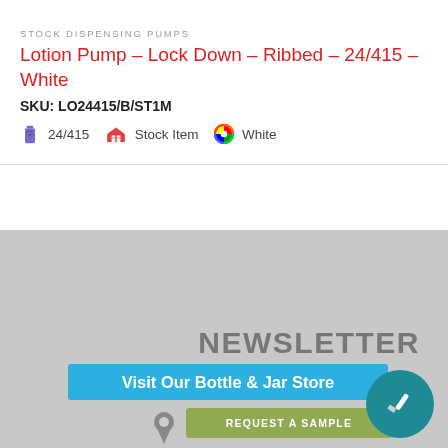STOCK DISPENSING PUMPS
Lotion Pump – Lock Down – Ribbed – 24/415 – White
SKU: LO24415/B/ST1M
24/415   Stock Item   White
[Figure (screenshot): Gray banner area with NEWSLETTER text and two buttons: 'Visit Our Bottle & Jar Store' (blue) and 'REQUEST A SAMPLE' (green), plus a teal circle icon with a pen/tool symbol]
NEWSLETTER
Visit Our Bottle & Jar Store
REQUEST A SAMPLE